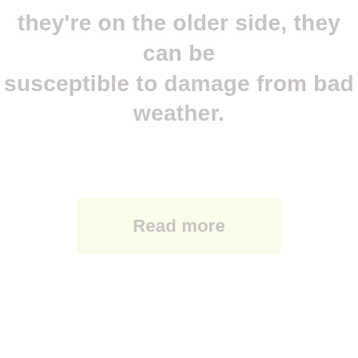they're on the older side, they can be susceptible to damage from bad weather.
Read more